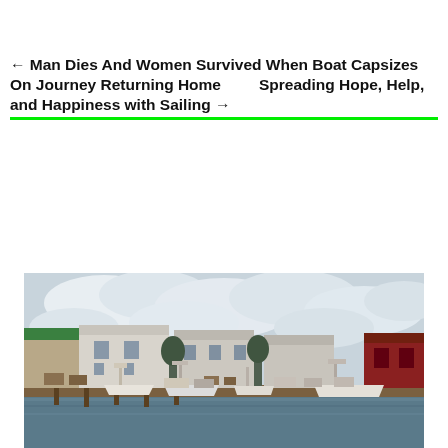← Man Dies And Women Survived When Boat Capsizes On Journey Returning Home    Spreading Hope, Help, and Happiness with Sailing →
[Figure (photo): Photograph of a harbor with fishing boats docked at a pier. White warehouse buildings and a red barn-style building visible in the background. Cloudy sky above.]